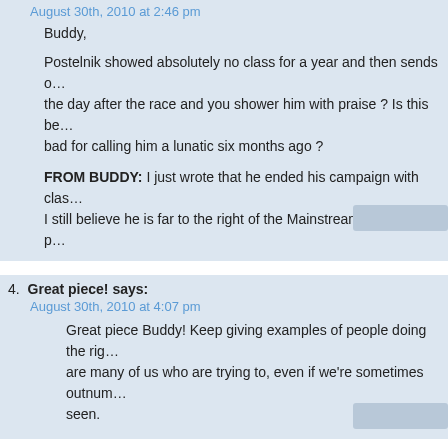August 30th, 2010 at 2:46 pm
Buddy,

Postelnik showed absolutely no class for a year and then sends out a concession the day after the race and you shower him with praise ? Is this because you feel bad for calling him a lunatic six months ago ?

FROM BUDDY: I just wrote that he ended his campaign with class. I still believe he is far to the right of the Mainstream. The voters p...
4.  Great piece! says:
August 30th, 2010 at 4:07 pm
Great piece Buddy! Keep giving examples of people doing the right thing. There are many of us who are trying to, even if we're sometimes outnumbered and unseen.
5.  David, stop attacking Buddy says:
August 30th, 2010 at 5:10 pm
David,
Your obsession against Yomin is getting out of hand. Up those meds and take a 12 step boy.